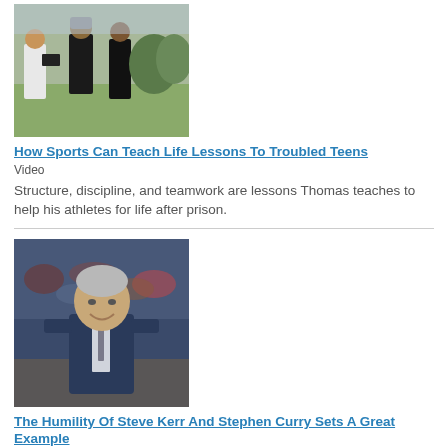[Figure (photo): Outdoor scene with people on a field, one holding a camera, others in athletic/casual attire]
How Sports Can Teach Life Lessons To Troubled Teens
Video
Structure, discipline, and teamwork are lessons Thomas teaches to help his athletes for life after prison.
[Figure (photo): Middle-aged man in a dark suit smiling, appearing to be on a basketball court with blurred crowd in background]
The Humility Of Steve Kerr And Stephen Curry Sets A Great Example
Video
Stephen Curry and PCA National Advisory Board Member Steve Kerr's humility demonstrates the best...